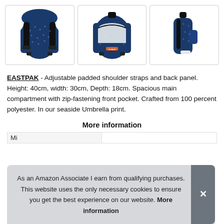[Figure (photo): Three product photos of a dark blue Eastpak backpack with small umbrella print pattern: back view showing padded straps, front open view showing interior compartment, and side view.]
EASTPAK - Adjustable padded shoulder straps and back panel. Height: 40cm, width: 30cm, Depth: 18cm. Spacious main compartment with zip-fastening front pocket. Crafted from 100 percent polyester. In our seaside Umbrella print.
More information
As an Amazon Associate I earn from qualifying purchases. This website uses the only necessary cookies to ensure you get the best experience on our website. More information